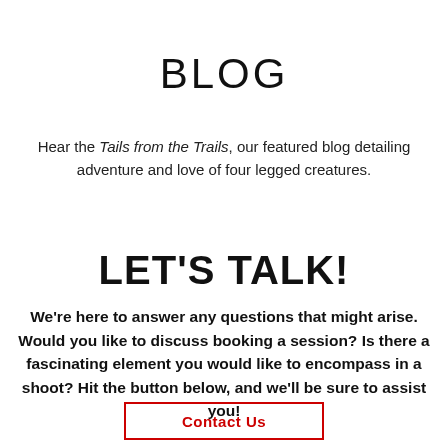BLOG
Hear the Tails from the Trails, our featured blog detailing adventure and love of four legged creatures.
LET'S TALK!
We're here to answer any questions that might arise. Would you like to discuss booking a session? Is there a fascinating element you would like to encompass in a shoot? Hit the button below, and we'll be sure to assist you!
Contact Us